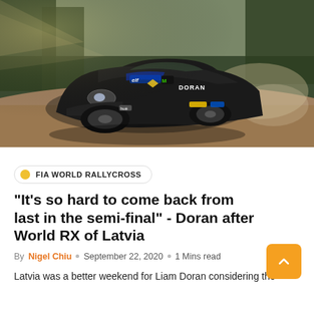[Figure (photo): Black Renault rally car with 'DORAN' livery, elf and Monster Energy sponsorship, drifting on a gravel/dirt track with trees in background, dust visible]
FIA WORLD RALLYCROSS
"It's so hard to come back from last in the semi-final" - Doran after World RX of Latvia
By Nigel Chiu · September 22, 2020 · 1 Mins read
Latvia was a better weekend for Liam Doran considering the